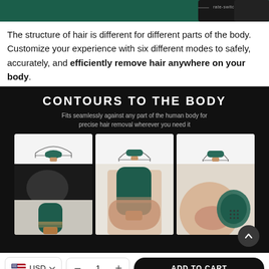[Figure (photo): Dark teal background with a hair removal device and label text 'rate-switching button']
The structure of hair is different for different parts of the body. Customize your experience with six different modes to safely, accurately, and efficiently remove hair anywhere on your body.
[Figure (infographic): Dark background section titled 'CONTOURS TO THE BODY' with subtitle 'Fits seamlessly against any part of the human body for precise hair removal wherever you need it', showing three product-in-use photos demonstrating device contouring to underarm, hand/wrist, and face areas.]
USD  -  1  +  ADD TO CART